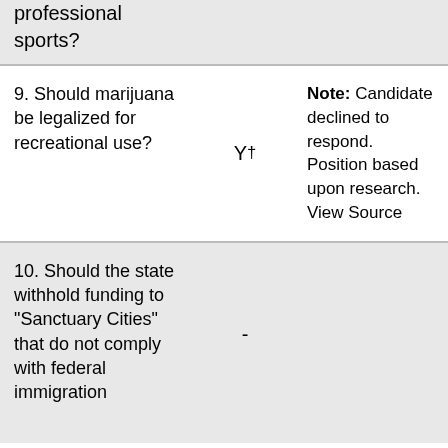professional sports?
| Question | Answer | Note |
| --- | --- | --- |
| 9. Should marijuana be legalized for recreational use? | Y† | Note: Candidate declined to respond. Position based upon research. View Source |
| 10. Should the state withhold funding to "Sanctuary Cities" that do not comply with federal immigration | - |  |